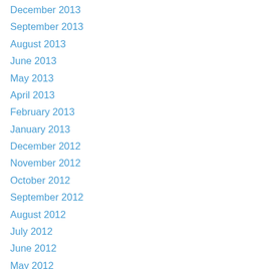December 2013
September 2013
August 2013
June 2013
May 2013
April 2013
February 2013
January 2013
December 2012
November 2012
October 2012
September 2012
August 2012
July 2012
June 2012
May 2012
April 2012
March 2012
February 2012
January 2012